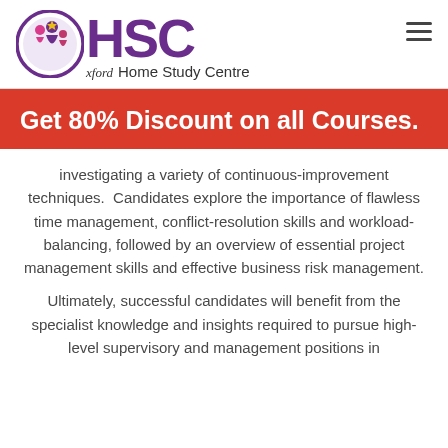[Figure (logo): HSC Oxford Home Study Centre logo — purple circle with figures and 'HSC' text]
Get 80% Discount on all Courses.
investigating a variety of continuous-improvement techniques. Candidates explore the importance of flawless time management, conflict-resolution skills and workload-balancing, followed by an overview of essential project management skills and effective business risk management.
Ultimately, successful candidates will benefit from the specialist knowledge and insights required to pursue high-level supervisory and management positions in